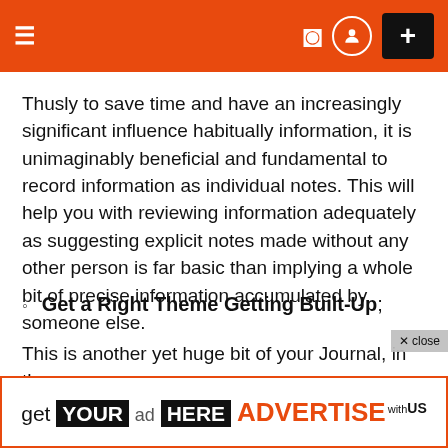Navigation bar with hamburger menu, moon/dark-mode icon, user icon, and + button
Thusly to save time and have an increasingly significant influence habitually information, it is unimaginably beneficial and fundamental to record information as individual notes. This will help you with reviewing information adequately as suggesting explicit notes made without any other person is far basic than implying a whole bit of precise information accumulated by someone else.
Get a Right Theme Getting Built-Up;
This is another yet huge bit of your Journal, in the
[Figure (screenshot): Advertisement banner: get YOUR ad HERE ADVERTISE with US]